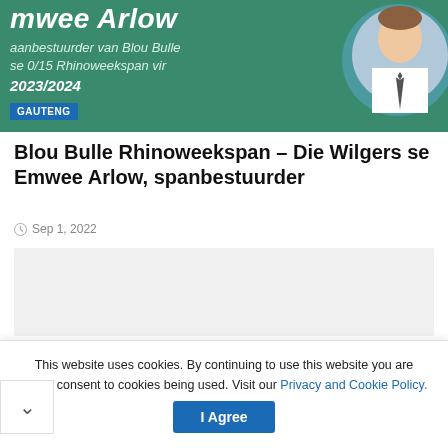[Figure (photo): Hero banner with teal/green background, italic bold white text showing 'mwee Arlow' (partially cropped title), subtitle 'aanbestuurder van Blou Bulle se 0/15 Rhinoweekspan vir 2023/2024', a blue GAUTENG badge, and a circular photo of a man in white shirt and tie on the right side.]
Blou Bulle Rhinoweekspan – Die Wilgers se Emwee Arlow, spanbestuurder
Sep 1, 2022
This website uses cookies. By continuing to use this website you are giving consent to cookies being used. Visit our Privacy and Cookie Policy.